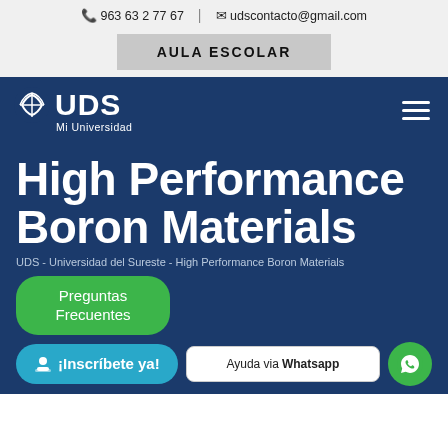963 63 2 77 67 | udscontacto@gmail.com
AULA ESCOLAR
[Figure (logo): UDS Mi Universidad logo — stylized globe/shield icon with text UDS and subtitle Mi Universidad, white on dark blue background]
High Performance Boron Materials
UDS - Universidad del Sureste - High Performance Boron Materials
Preguntas Frecuentes
¡Inscríbete ya!
Ayuda via Whatsapp